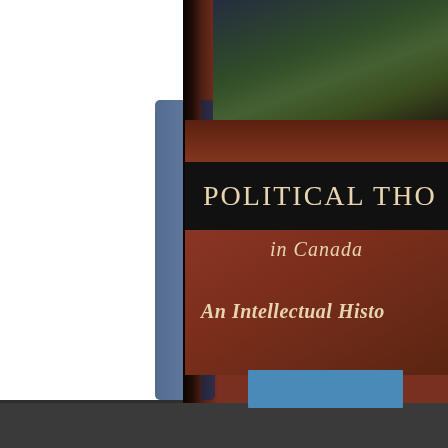[Figure (photo): Photograph of a book cover titled 'Political Thought in Canada: An Intellectual History'. The book has a dark reddish-brown cover with a dark band across the title, a photographic image at the top, and text in cream/gold serif font. A blue rectangle appears near the bottom of the cover. The image is taken at an angle, showing the book spine on the left and a white background to the left side of the frame. A dark gray bar appears at the very bottom of the image.]